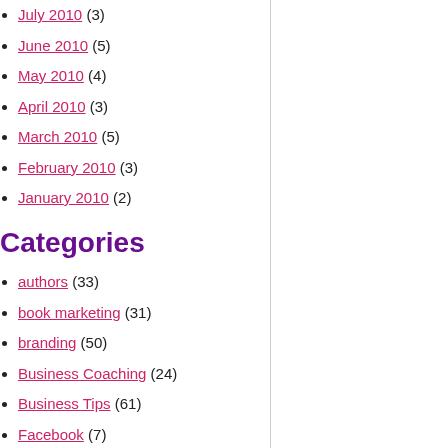July 2010 (3)
June 2010 (5)
May 2010 (4)
April 2010 (3)
March 2010 (5)
February 2010 (3)
January 2010 (2)
Categories
authors (33)
book marketing (31)
branding (50)
Business Coaching (24)
Business Tips (61)
Facebook (7)
marketing (64)
PR and Publicity (30)
sales (29)